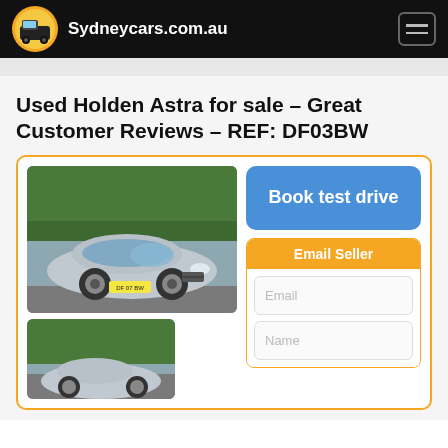Sydneycars.com.au
Used Holden Astra for sale – Great Customer Reviews – REF: DF03BW
[Figure (photo): Silver Holden Astra hatchback parked on a street with green hedges in background, yellow number plate DF 07 BW]
[Figure (photo): Second photo of the silver Holden Astra, partially visible at bottom]
Book test drive
Email Seller
Email
Name